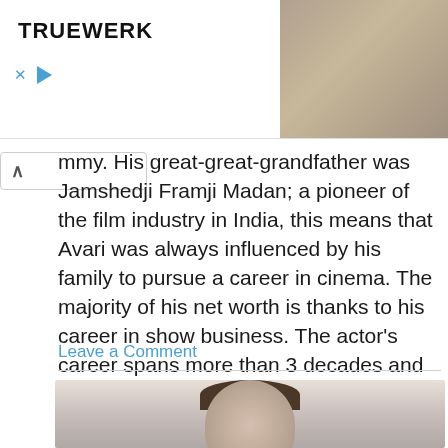[Figure (screenshot): Advertisement banner for TRUEWERK brand with logo on left and photo of person on right. X and play button controls visible below logo.]
mmy. His great-great-grandfather was Jamshedji Framji Madan; a pioneer of the film industry in India, this means that Avari was always influenced by his family to pursue a career in cinema. The majority of his net worth is thanks to his career in show business. The actor's career spans more than 3 decades and has made him a prominent name amongst sci-fi fans.
Leave a Comment
[Figure (photo): Partial photo of a young man with dark hair, cropped at bottom of page.]